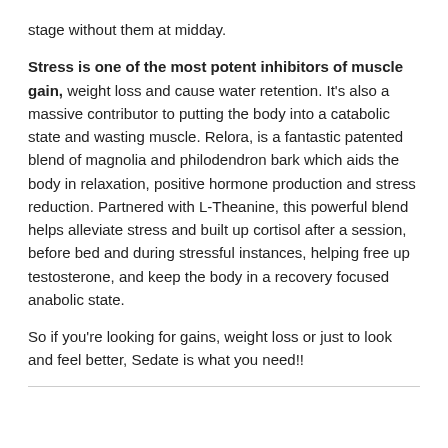stage without them at midday.
Stress is one of the most potent inhibitors of muscle gain, weight loss and cause water retention. It's also a massive contributor to putting the body into a catabolic state and wasting muscle. Relora, is a fantastic patented blend of magnolia and philodendron bark which aids the body in relaxation, positive hormone production and stress reduction. Partnered with L-Theanine, this powerful blend helps alleviate stress and built up cortisol after a session, before bed and during stressful instances, helping free up testosterone, and keep the body in a recovery focused anabolic state.
So if you're looking for gains, weight loss or just to look and feel better, Sedate is what you need!!